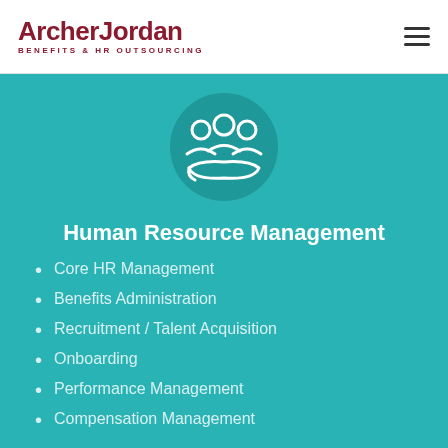[Figure (logo): ArcherJordan logo with text 'BENEFITS & HR OUTSOURCING' below]
[Figure (illustration): Teal circular icon with three white stylized people figures above a hand, representing human resource management]
Human Resource Management
Core HR Management
Benefits Administration
Recruitment / Talent Acquisition
Onboarding
Performance Management
Compensation Management